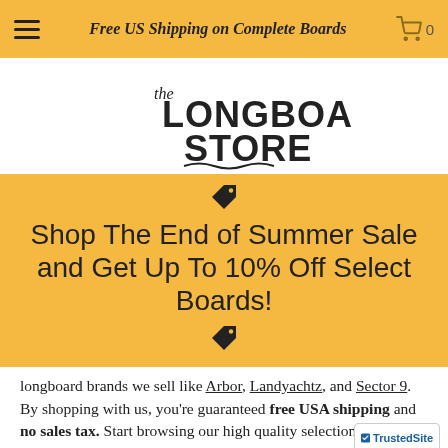Free US Shipping on Complete Boards
[Figure (logo): The Longboard Store logo — hand-drawn style text with decorative wave underline]
Shop The End of Summer Sale and Get Up To 10% Off Select Boards!
longboard brands we sell like Arbor, Landyachtz, and Sector 9. By shopping with us, you're guaranteed free USA shipping and no sales tax. Start browsing our high quality selection today and find the longboard that perfectly